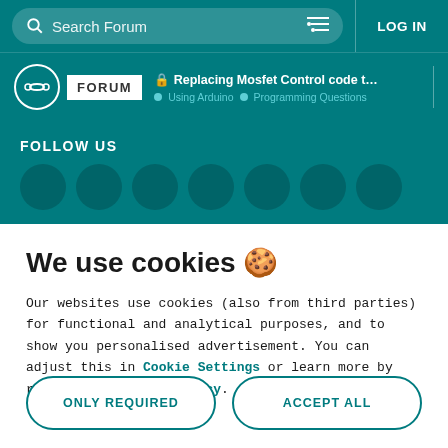Search Forum | LOG IN
Replacing Mosfet Control code to Relay Si... | Using Arduino | Programming Questions
FOLLOW US
We use cookies 🍪
Our websites use cookies (also from third parties) for functional and analytical purposes, and to show you personalised advertisement. You can adjust this in Cookie Settings or learn more by reading our cookie policy.
ONLY REQUIRED
ACCEPT ALL